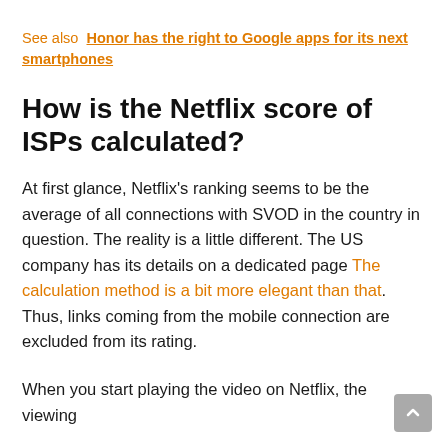See also  Honor has the right to Google apps for its next smartphones
How is the Netflix score of ISPs calculated?
At first glance, Netflix's ranking seems to be the average of all connections with SVOD in the country in question. The reality is a little different. The US company has its details on a dedicated page The calculation method is a bit more elegant than that. Thus, links coming from the mobile connection are excluded from its rating.
When you start playing the video on Netflix, the viewing